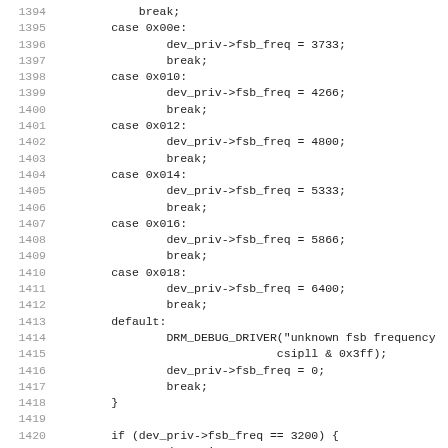Source code listing lines 1394-1426 showing switch-case statements for fsb_freq values and conditional assignments for c_m